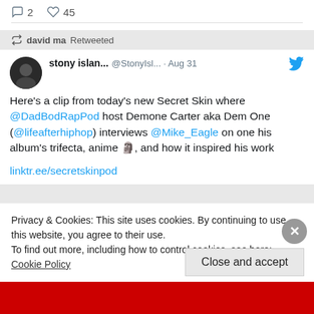Earl Cardigan and 2 others
2 comments, 45 likes
david ma Retweeted
stony islan... @StonyIsl... · Aug 31
Here's a clip from today's new Secret Skin where @DadBodRapPod host Demone Carter aka Dem One (@lifeafterhiphop) interviews @Mike_Eagle on one his album's trifecta, anime 🗿, and how it inspired his work
linktr.ee/secretskinpod
Privacy & Cookies: This site uses cookies. By continuing to use this website, you agree to their use.
To find out more, including how to control cookies, see here: Cookie Policy